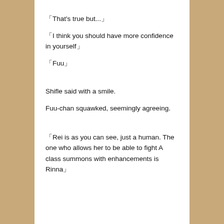「That's true but...」
「I think you should have more confidence in yourself」
「Fuu」
Shifle said with a smile.
Fuu-chan squawked, seemingly agreeing.
「Rei is as you can see, just a human. The one who allows her to be able to fight A class summons with enhancements is Rinna」